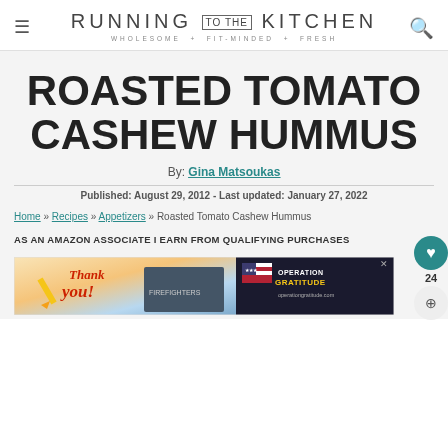RUNNING TO THE KITCHEN — WHOLESOME · FIT-MINDED · FRESH
ROASTED TOMATO CASHEW HUMMUS
By: Gina Matsoukas
Published: August 29, 2012 - Last updated: January 27, 2022
Home » Recipes » Appetizers » Roasted Tomato Cashew Hummus
AS AN AMAZON ASSOCIATE I EARN FROM QUALIFYING PURCHASES
[Figure (other): Operation Gratitude advertisement banner with 'Thank you' text and firefighters image]